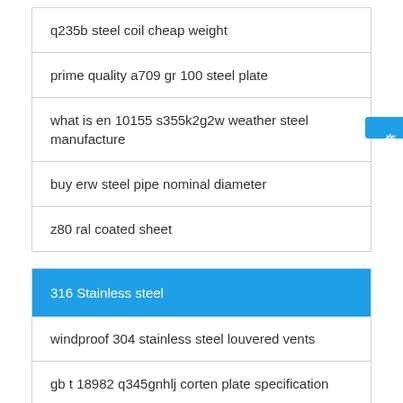q235b steel coil cheap weight
prime quality a709 gr 100 steel plate
what is en 10155 s355k2g2w weather steel manufacture
buy erw steel pipe nominal diameter
z80 ral coated sheet
316 Stainless steel
windproof 304 stainless steel louvered vents
gb t 18982 q345gnhlj corten plate specification